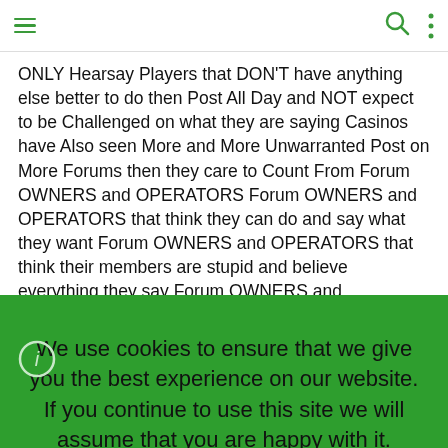Navigation bar with menu, search, and options icons
ONLY Hearsay Players that DON'T have anything else better to do then Post All Day and NOT expect to be Challenged on what they are saying Casinos have Also seen More and More Unwarranted Post on More Forums then they care to Count From Forum OWNERS and OPERATORS Forum OWNERS and OPERATORS that think they can do and say what they want Forum OWNERS and OPERATORS that think their members are stupid and believe everything they say Forum OWNERS and OPERATORS that get Paid to Advertise Casinos Forum OWNERS and OPERATORS That Chances are if
We use cookies to ensure that we give you the best experience on our website. If you continue to use this site we will assume that you are happy with it.